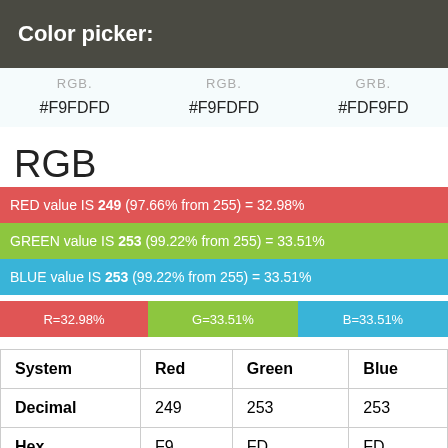Color picker:
RGB.   RGB.   GRB.
#F9FDFD   #F9FDFD   #FDF9FD
RGB
RED value IS 249 (97.66% from 255) = 32.98%
GREEN value IS 253 (99.22% from 255) = 33.51%
BLUE value IS 253 (99.22% from 255) = 33.51%
[Figure (stacked-bar-chart): RGB combined bar]
| System | Red | Green | Blue |
| --- | --- | --- | --- |
| Decimal | 249 | 253 | 253 |
| Hex | F9 | FD | FD |